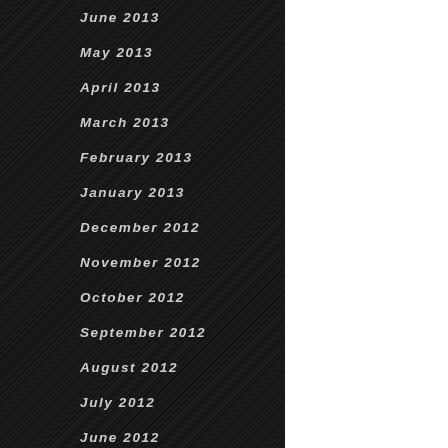June 2013
May 2013
April 2013
March 2013
February 2013
January 2013
December 2012
November 2012
October 2012
September 2012
August 2012
July 2012
June 2012
May 2012